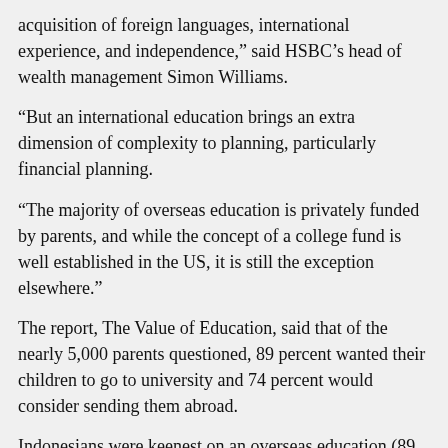acquisition of foreign languages, international experience, and independence," said HSBC's head of wealth management Simon Williams.
"But an international education brings an extra dimension of complexity to planning, particularly financial planning.
"The majority of overseas education is privately funded by parents, and while the concept of a college fund is well established in the US, it is still the exception elsewhere."
The report, The Value of Education, said that of the nearly 5,000 parents questioned, 89 percent wanted their children to go to university and 74 percent would consider sending them abroad.
Indonesians were keenest on an overseas education (89 percent), followed by Malaysia, Turkey and Hong Kong.
More than half of those questioned said that paying for a child's education was the best investment they could make, with many — led by Malaysia and China —